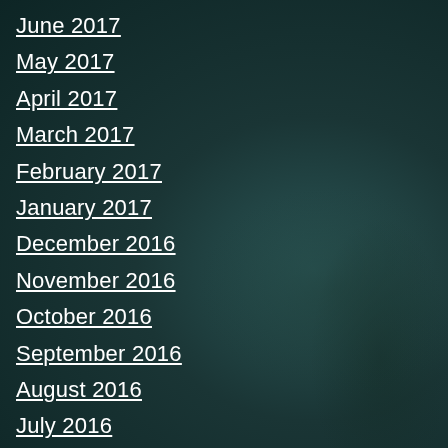June 2017
May 2017
April 2017
March 2017
February 2017
January 2017
December 2016
November 2016
October 2016
September 2016
August 2016
July 2016
June 2016